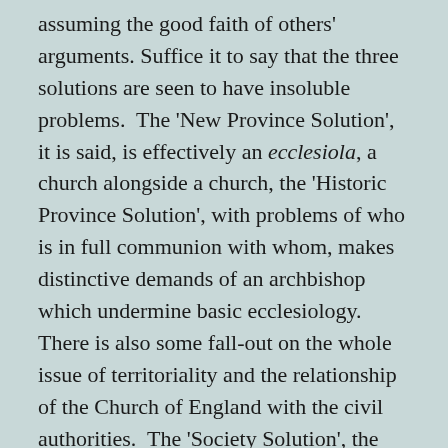assuming the good faith of others' arguments. Suffice it to say that the three solutions are seen to have insoluble problems. The 'New Province Solution', it is said, is effectively an ecclesiola, a church alongside a church, the 'Historic Province Solution', with problems of who is in full communion with whom, makes distinctive demands of an archbishop which undermine basic ecclesiology. There is also some fall-out on the whole issue of territoriality and the relationship of the Church of England with the civil authorities. The 'Society Solution', the least developed of the ideas, continues to draw support but the relationship of the society with the parent body – the whole issue of permeability and interchange-ability (essentially the question...